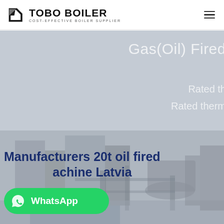[Figure (logo): TOBO BOILER logo with geometric icon and tagline COST-EFFECTIVE BOILER SUPPLIER]
[Figure (photo): Hero banner showing industrial boiler/machinery in grey-blue tones with overlay text: Gas(Oil) Fired, Rated th[ermal...], Rated therm[al...]]
Manufacturers 20t oil fired [m]achine Latvia
[Figure (other): WhatsApp contact button in green with WhatsApp icon and label]